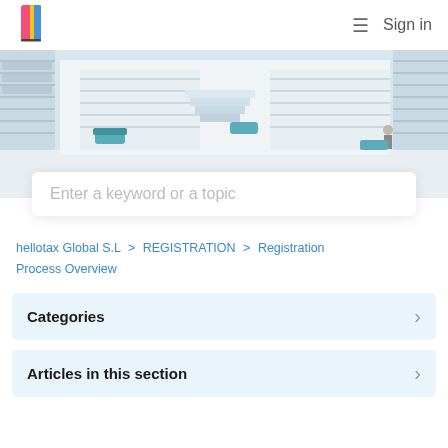[Figure (logo): Hellotax colorful book/page logo icon]
Sign in
[Figure (photo): Interior of a modern white library with bookshelves, stairs, and teal seating areas]
Enter a keyword or a topic
hellotax Global S.L > REGISTRATION > Registration Process Overview
Categories
Articles in this section